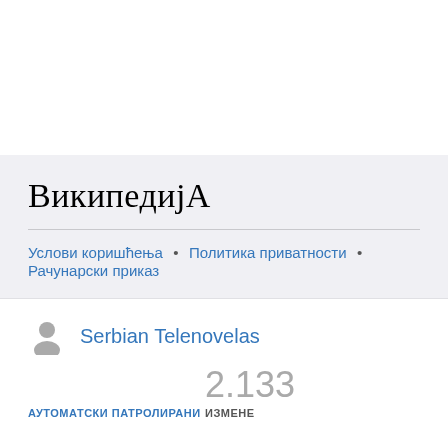ВикипедијА
Услови коришћења • Политика приватности • Рачунарски приказ
Serbian Telenovelas
АУТОМАТСКИ ПАТРОЛИРАНИ
2.133 ИЗМЕНЕ